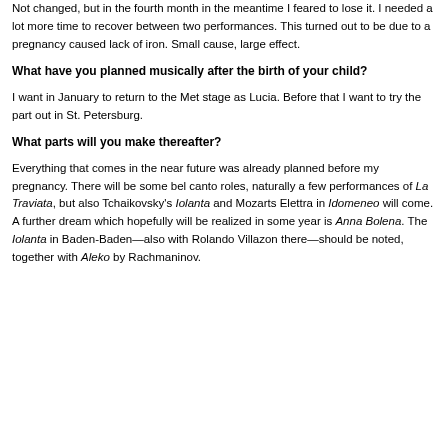Not changed, but in the fourth month in the meantime I feared to lose it. I needed a lot more time to recover between two performances. This turned out to be due to a pregnancy caused lack of iron. Small cause, large effect.
What have you planned musically after the birth of your child?
I want in January to return to the Met stage as Lucia. Before that I want to try the part out in St. Petersburg.
What parts will you make thereafter?
Everything that comes in the near future was already planned before my pregnancy. There will be some bel canto roles, naturally a few performances of La Traviata, but also Tchaikovsky's Iolanta and Mozarts Elettra in Idomeneo will come. A further dream which hopefully will be realized in some year is Anna Bolena. The Iolanta in Baden-Baden—also with Rolando Villazon there—should be noted, together with Aleko by Rachmaninov.